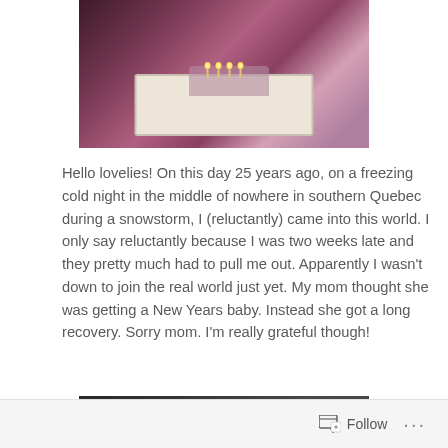[Figure (photo): A birthday cake with candles lit, held by someone in a pink setting]
Hello lovelies! On this day 25 years ago, on a freezing cold night in the middle of nowhere in southern Quebec during a snowstorm, I (reluctantly) came into this world. I only say reluctantly because I was two weeks late and they pretty much had to pull me out. Apparently I wasn't down to join the real world just yet. My mom thought she was getting a New Years baby. Instead she got a long recovery. Sorry mom. I'm really grateful though!
[Figure (photo): Two people in a kitchen scene, appears to be a TV screenshot with TNT HD watermark]
Follow ...